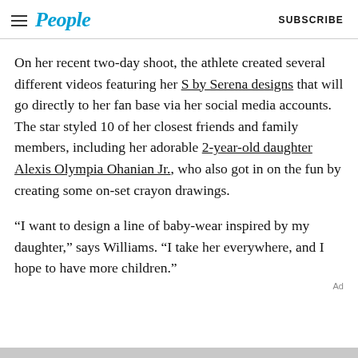People | SUBSCRIBE
On her recent two-day shoot, the athlete created several different videos featuring her S by Serena designs that will go directly to her fan base via her social media accounts. The star styled 10 of her closest friends and family members, including her adorable 2-year-old daughter Alexis Olympia Ohanian Jr., who also got in on the fun by creating some on-set crayon drawings.
“I want to design a line of baby-wear inspired by my daughter,” says Williams. “I take her everywhere, and I hope to have more children.”